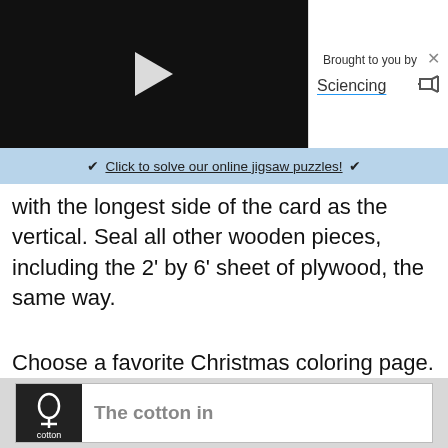[Figure (screenshot): Black video player area with white play button triangle in center]
Brought to you by Sciencing
✦ Click to solve our online jigsaw puzzles! ✦
with the longest side of the card as the vertical. Seal all other wooden pieces, including the 2' by 6' sheet of plywood, the same way.
Choose a favorite Christmas coloring page. Pages are available online, or you can purchase a Christmas coloring book. Make a transparency of your coloring page by loading your printer or a copy machine with transparency film instead of paper.
[Figure (screenshot): Advertisement banner showing Cotton logo and text 'The cotton in']